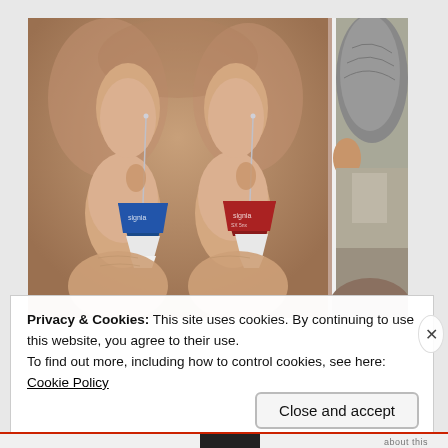[Figure (photo): Two small Signia hearing aid devices (one blue, one red) being held between fingers, shown close up. Behind them is a partial photo of a person's head/ear area. The image appears on a webpage.]
Privacy & Cookies: This site uses cookies. By continuing to use this website, you agree to their use.
To find out more, including how to control cookies, see here:
Cookie Policy
Close and accept